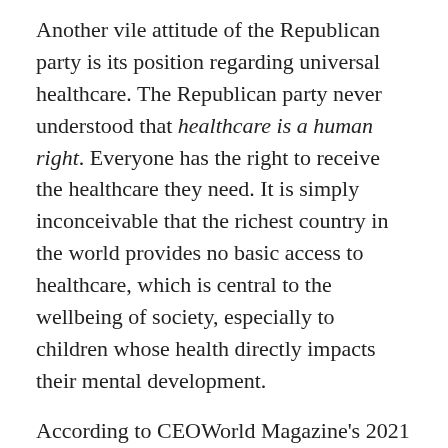Another vile attitude of the Republican party is its position regarding universal healthcare. The Republican party never understood that healthcare is a human right. Everyone has the right to receive the healthcare they need. It is simply inconceivable that the richest country in the world provides no basic access to healthcare, which is central to the wellbeing of society, especially to children whose health directly impacts their mental development.
According to CEOWorld Magazine's 2021 Health Care Index, the ten countries with the best health care are: South Korea, Taiwan, Denmark, Austria, Japan, Australia, France, Spain, Belgium, and the United Kingdom. It is disgraceful that the United States comes in 30th on the Index – behind Mexico, Greece, and Ecuador. One of the strongest arguments for universal health care is that it will foster a healthier population